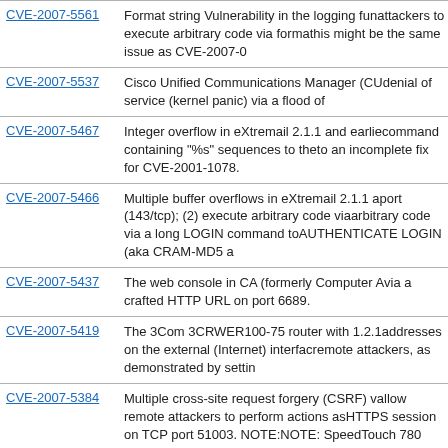| CVE ID | Description |
| --- | --- |
| CVE-2007-5561 | Format string Vulnerability in the logging fun... attackers to execute arbitrary code via forma... this might be the same issue as CVE-2007-0... |
| CVE-2007-5537 | Cisco Unified Communications Manager (CU... denial of service (kernel panic) via a flood of... |
| CVE-2007-5467 | Integer overflow in eXtremail 2.1.1 and earlie... command containing "%s" sequences to the... to an incomplete fix for CVE-2001-1078. |
| CVE-2007-5466 | Multiple buffer overflows in eXtremail 2.1.1 a... port (143/tcp); (2) execute arbitrary code via... arbitrary code via a long LOGIN command to... AUTHENTICATE LOGIN (aka CRAM-MD5 a... |
| CVE-2007-5437 | The web console in CA (formerly Computer A... via a crafted HTTP URL on port 6689. |
| CVE-2007-5419 | The 3Com 3CRWER100-75 router with 1.2.1... addresses on the external (Internet) interfac... remote attackers, as demonstrated by settin... |
| CVE-2007-5384 | Multiple cross-site request forgery (CSRF) v... allow remote attackers to perform actions as... HTTPS session on TCP port 51003. NOTE:... NOTE: SpeedTouch 780 might also be affec... |
| CVE-2007-5381 | Stack-based buffer overflow in the Line Print... execute arbitrary code by setting a long host... to the LPD from a source port other than 515... |
| CVE-2007-5369 | The GetMagicNumberString function in Mas... |